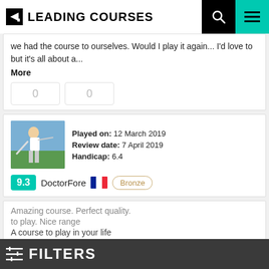LEADING COURSES
we had the course to ourselves. Would I play it again... I'd love to but it's all about a...
More
0   0
Played on: 12 March 2019
Review date: 7 April 2019
Handicap: 6.4
9.3 DoctorFore [FR flag] Bronze
Amazing course. Perfect quality.
to play. Nice range
A course to play in your life
Price is way to high.
FILTERS